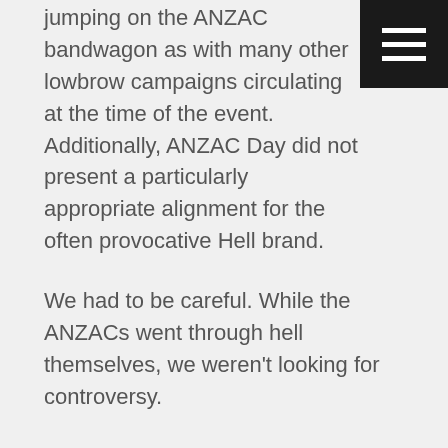jumping on the ANZAC bandwagon as with many other lowbrow campaigns circulating at the time of the event. Additionally, ANZAC Day did not present a particularly appropriate alignment for the often provocative Hell brand.
We had to be careful. While the ANZACs went through hell themselves, we weren’t looking for controversy.
With a budget of $3k to do it our initial campaign targets were to:
Get a “decent, measurable ROI”
Demonstrate the effectiveness of database targeting